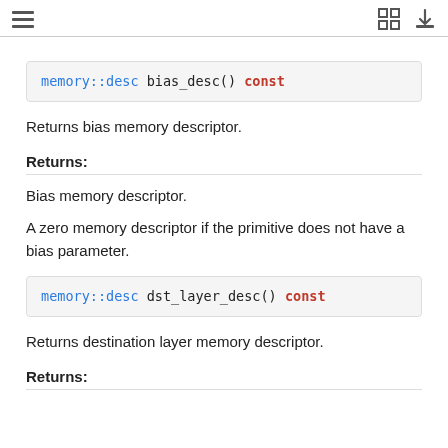Returns bias memory descriptor.
Returns:
Bias memory descriptor.
A zero memory descriptor if the primitive does not have a bias parameter.
Returns destination layer memory descriptor.
Returns: